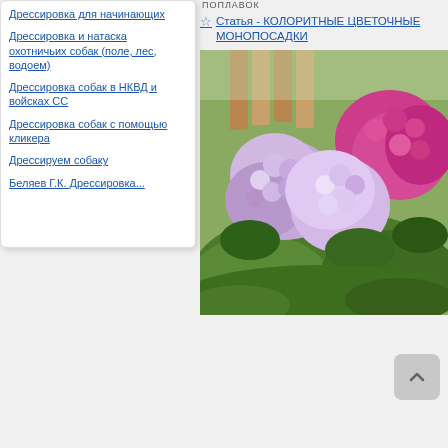Дрессировка для начинающих
Дрессировка и натаска охотничьих собак (поле, лес, водоем)
Дрессировка собак в НКВД и войсках СС
Дрессировка собак с помощью кликера
Дрессируем собаку
Беляев Г.К. Дрессировка...
ПОПЛАВОК
Статья - КОЛОРИТНЫЕ ЦВЕТОЧНЫЕ МОНОПОСАДКИ
[Figure (photo): Photograph of blooming purple and pink flowers, possibly phlox or hydrangea, in a garden setting with green foliage and a wooden fence in the background.]